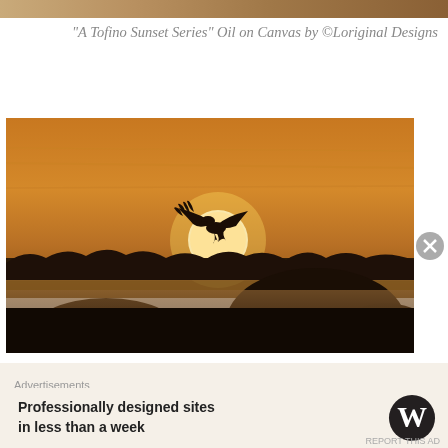[Figure (photo): Partial top strip of a sunset painting – warm amber and brown tones]
“A Tofino Sunset Series” Oil on Canvas by ©Loriginal Designs
[Figure (photo): Photograph of a bird (eagle/hawk) silhouette in flight against a large setting sun disk, with dark rocky silhouettes in foreground and a treeline across a calm water body. Warm orange-amber tones throughout.]
Advertisements
Professionally designed sites in less than a week